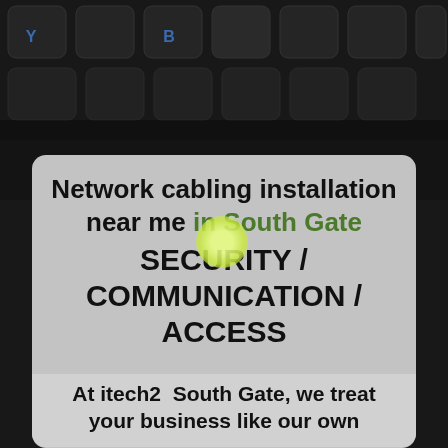[Figure (photo): Dark keyboard background with backlit keys visible at the top of the image]
Network cabling installation near me in South Gate SECURITY / COMMUNICATION / ACCESS
At itech2  South Gate, we treat your business like our own